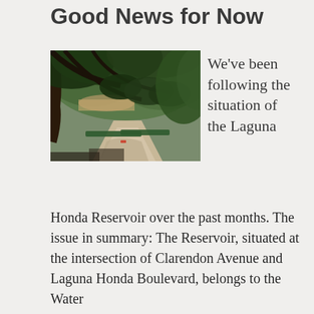Good News for Now
[Figure (photo): Outdoor nature scene showing a reservoir area with large overhanging trees, a dirt/gravel path, green vegetation, and water visible in the background. Green barriers or structures visible near the water.]
We've been following the situation of the Laguna
Honda Reservoir over the past months. The issue in summary: The Reservoir, situated at the intersection of Clarendon Avenue and Laguna Honda Boulevard, belongs to the Water